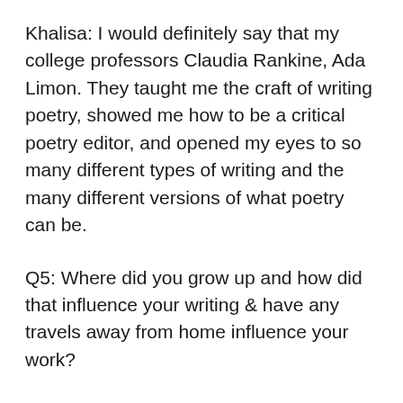Khalisa: I would definitely say that my college professors Claudia Rankine, Ada Limon. They taught me the craft of writing poetry, showed me how to be a critical poetry editor, and opened my eyes to so many different types of writing and the many different versions of what poetry can be.
Q5: Where did you grow up and how did that influence your writing & have any travels away from home influence your work?
Khalisa: So, I was born in Gary Indiana and